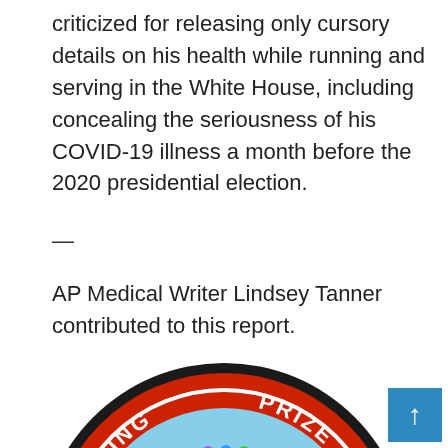criticized for releasing only cursory details on his health while running and serving in the White House, including concealing the seriousness of his COVID-19 illness a month before the 2020 presidential election.
—
AP Medical Writer Lindsey Tanner contributed to this report.
[Figure (logo): Circular logo for 'Matching Prize' featuring 'Digital Broadcast' text and a microphone with 'City News' text and city skyline. Red and blue color scheme with dark border.]